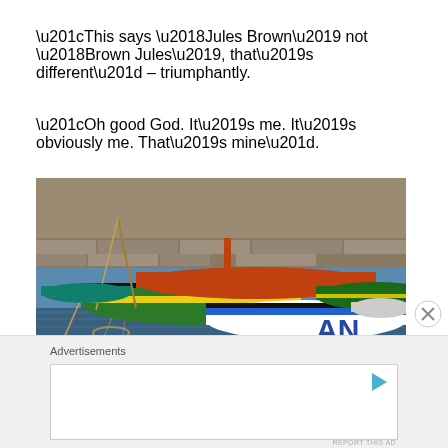“This says ‘Jules Brown’ not ‘Brown Jules’, that’s different” – triumphantly.
“Oh good God. It’s me. It’s obviously me. That’s mine”.
[Figure (photo): Colourful fishing boats moored at a harbour wall. The nearest boat is white and blue with letters AN visible. Green and yellow striped boats are behind, with stone harbour wall in background.]
Advertisements